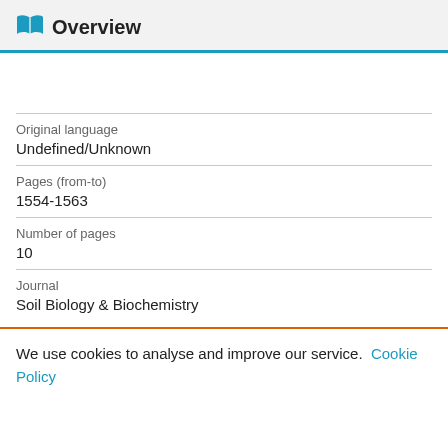Overview
| Field | Value |
| --- | --- |
| Original language | Undefined/Unknown |
| Pages (from-to) | 1554-1563 |
| Number of pages | 10 |
| Journal | Soil Biology & Biochemistry |
We use cookies to analyse and improve our service. Cookie Policy